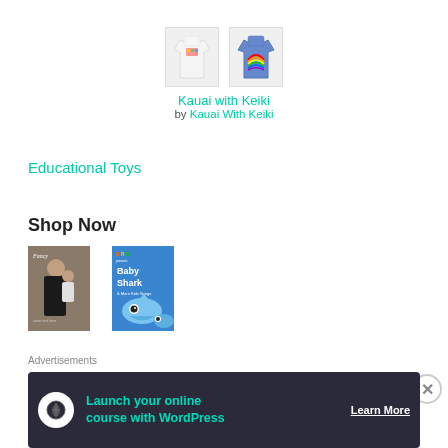[Figure (photo): Two product images: white t-shirt and blue t-shirt with colorful prints]
Kauai with Keiki
by Kauai With Keiki
Educational Toys
Shop Now
[Figure (photo): Fashion magazine cover with woman and child in black outfits]
[Figure (photo): Baby Shark & More Kids Songs album cover with cartoon shark characters on blue background]
Advertisements
[Figure (infographic): Dark advertisement banner: Launch your online course with WordPress - Learn More]